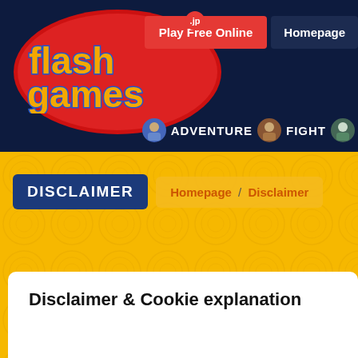[Figure (logo): flashgames.jp logo: orange text 'flashgames' with blue outline on a red oval, dark navy background, with a small red .jp badge]
Play Free Online
Homepage
ADVENTURE
FIGHT
DISCLAIMER
Homepage / Disclaimer
Disclaimer & Cookie explanation